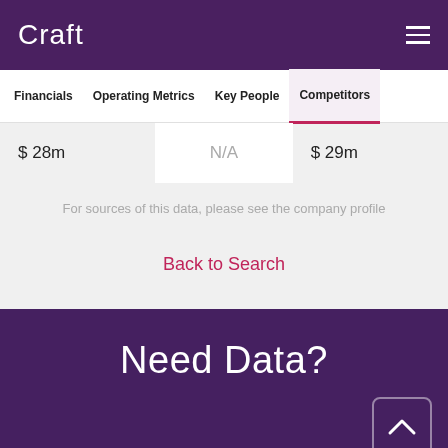Craft
Financials  Operating Metrics  Key People  Competitors
$ 28m  N/A  $ 29m
For sources of this data, please see the company profile
Back to Search
Need Data?
Overview
Charts